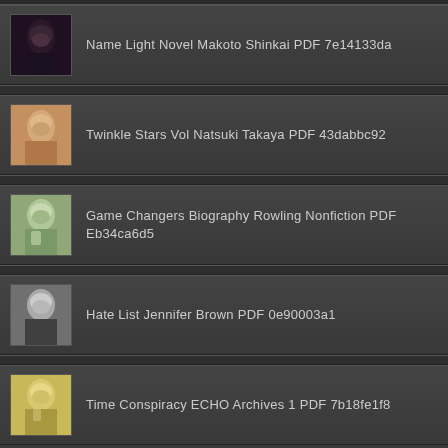Name Light Novel Makoto Shinkai PDF 7e14133da
Twinkle Stars Vol Natsuki Takaya PDF 43dabbc92
Game Changers Biography Rowling Nonfiction PDF Eb34ca6d5
Hate List Jennifer Brown PDF 0e90003a1
Time Conspiracy ECHO Archives 1 PDF 7b18fe1f8